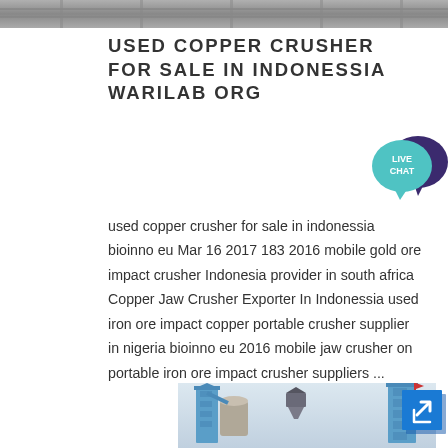[Figure (photo): Top partial photo of a building facade, grey tones]
USED COPPER CRUSHER FOR SALE IN INDONESSIA WARILAB ORG
[Figure (other): Live Chat speech bubble widget in teal and dark purple]
used copper crusher for sale in indonessia bioinno eu Mar 16 2017 183 2016 mobile gold ore impact crusher Indonesia provider in south africa Copper Jaw Crusher Exporter In Indonessia used iron ore impact copper portable crusher supplier in nigeria bioinno eu 2016 mobile jaw crusher on portable iron ore impact crusher suppliers ...
[Figure (photo): Industrial mining crusher equipment with blue metal towers and a central processing unit, photographed outdoors]
[Figure (other): Share/redirect button with arrow icon in blue square]